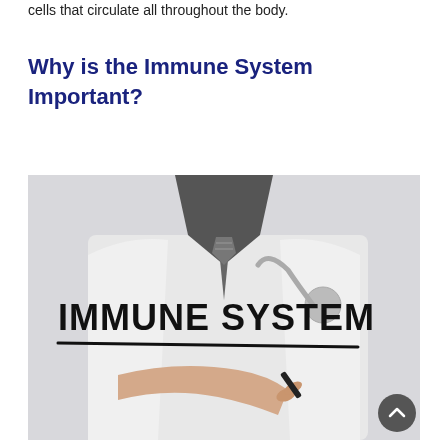cells that circulate all throughout the body.
Why is the Immune System Important?
[Figure (photo): A doctor in a white coat with stethoscope writing or pointing to the text 'IMMUNE SYSTEM' in bold black letters with a horizontal underline, on a light grey background.]